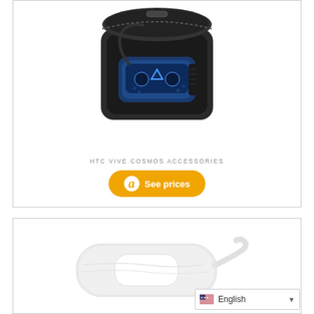[Figure (photo): HTC Vive Cosmos VR headset in a black carrying case, open lid showing the blue and black headset inside]
HTC VIVE COSMOS ACCESSORIES
[Figure (photo): White disposable VR face mask/cover, elongated oval shape with cutout in center and attached cord/strap, on white background]
English